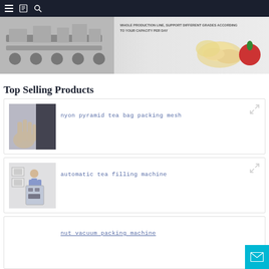[Figure (screenshot): Dark navigation bar with hamburger menu, book icon, and search icon on dark background]
[Figure (photo): Banner image showing food processing machinery on the left, text 'WHOLE PRODUCTION LINE, SUPPORT DIFFERENT GRADES ACCORDING TO YOUR CAPACITY PER DAY' in the center, and food products (chips, tomato) on the right]
Top Selling Products
[Figure (photo): Product card showing nylon pyramid tea bag packing mesh — thumbnail of hand holding mesh fabric]
nyon pyramid tea bag packing mesh
[Figure (photo): Product card showing automatic tea filling machine — thumbnail of machine diagram]
automatic tea filling machine
[Figure (photo): Partial product card for nut vacuum packing machine]
nut vacuum packing machine